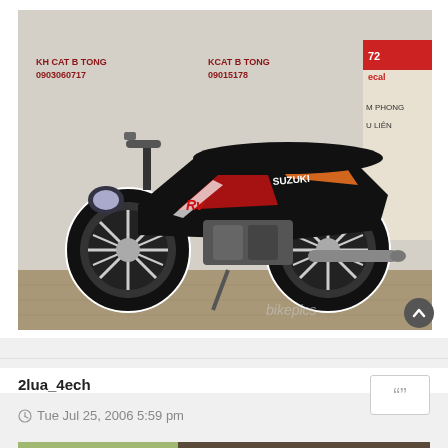[Figure (photo): A Suzuki motorcycle (black with red/orange/white graphics) parked on a paved area in front of a wall with Vietnamese signage. Watermark 'bikepics' visible at bottom right of photo.]
2lua_4ech
Tue Jul 25, 2006 5:59 pm
[Figure (photo): Partial view of another photo at bottom of page showing a street scene with Vietnamese signage.]